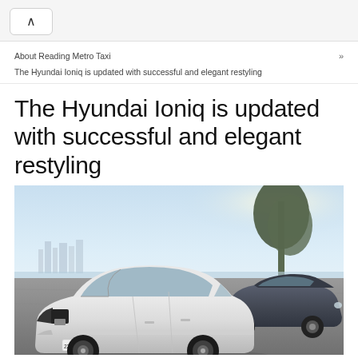About Reading Metro Taxi »
The Hyundai Ioniq is updated with successful and elegant restyling
The Hyundai Ioniq is updated with successful and elegant restyling
[Figure (photo): Two Hyundai Ioniq cars parked on a scenic waterfront plaza — a white one in the foreground and a dark grey one behind it, with a city skyline and trees visible in the background under a bright sky.]